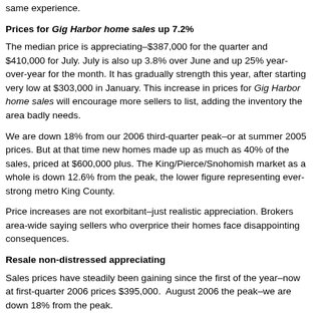same experience.
Prices for Gig Harbor home sales up 7.2%
The median price is appreciating–$387,000 for the quarter and $410,000 for July. July is also up 3.8% over June and up 25% year-over-year for the month. It has gradually strength this year, after starting very low at $303,000 in January. This increase in prices for Gig Harbor home sales will encourage more sellers to list, adding the inventory the area badly needs.
We are down 18% from our 2006 third-quarter peak–or at summer 2005 prices. But at that time new homes made up as much as 40% of the sales, priced at $600,000 plus. The King/Pierce/Snohomish market as a whole is down 12.6% from the peak, the lower figure representing ever-strong metro King County.
Price increases are not exorbitant–just realistic appreciation. Brokers area-wide saying sellers who overprice their homes face disappointing consequences.
Resale non-distressed appreciating
Sales prices have steadily been gaining since the first of the year–now at first-quarter 2006 prices $395,000.  August 2006 the peak–we are down 18% from the peak.
Inventory up 3%
Inventory is still low, which leads to multiple offers and homes selling above their prices. Brokers throughout the Puget Sound point to the quality of some homes